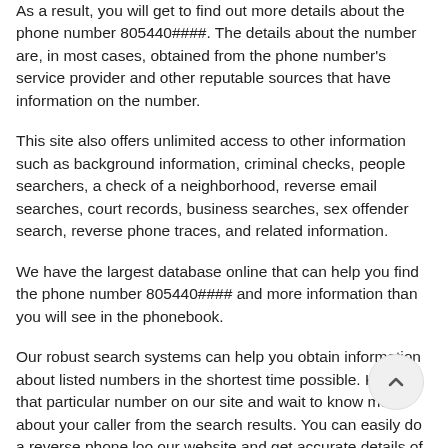As a result, you will get to find out more details about the phone number 805440####. The details about the number are, in most cases, obtained from the phone number's service provider and other reputable sources that have information on the number.
This site also offers unlimited access to other information such as background information, criminal checks, people searchers, a check of a neighborhood, reverse email searches, court records, business searches, sex offender search, reverse phone traces, and related information.
We have the largest database online that can help you find the phone number 805440#### and more information than you will see in the phonebook.
Our robust search systems can help you obtain information about listed numbers in the shortest time possible. Key in that particular number on our site and wait to know more about your caller from the search results. You can easily do a reverse phone look on our website and get accurate details of your caller.